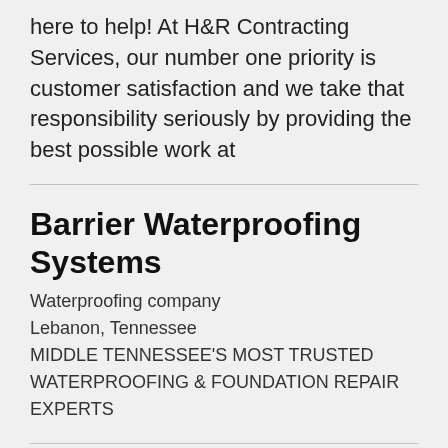here to help! At H&R Contracting Services, our number one priority is customer satisfaction and we take that responsibility seriously by providing the best possible work at
Barrier Waterproofing Systems
Waterproofing company
Lebanon, Tennessee
MIDDLE TENNESSEE'S MOST TRUSTED WATERPROOFING & FOUNDATION REPAIR EXPERTS
Bitcoin ATM Houston –